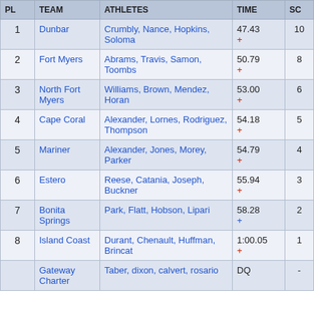| PL | TEAM | ATHLETES | TIME | SC |
| --- | --- | --- | --- | --- |
| 1 | Dunbar | Crumbly, Nance, Hopkins, Soloma | 47.43 + | 10 |
| 2 | Fort Myers | Abrams, Travis, Samon, Toombs | 50.79 + | 8 |
| 3 | North Fort Myers | Williams, Brown, Mendez, Horan | 53.00 + | 6 |
| 4 | Cape Coral | Alexander, Lornes, Rodriguez, Thompson | 54.18 + | 5 |
| 5 | Mariner | Alexander, Jones, Morey, Parker | 54.79 + | 4 |
| 6 | Estero | Reese, Catania, Joseph, Buckner | 55.94 + | 3 |
| 7 | Bonita Springs | Park, Flatt, Hobson, Lipari | 58.28 + | 2 |
| 8 | Island Coast | Durant, Chenault, Huffman, Brincat | 1:00.05 + | 1 |
|  | Gateway Charter | Taber, dixon, calvert, rosario | DQ | - |